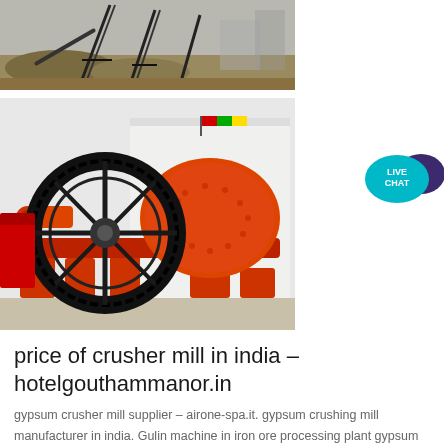[Figure (photo): Outdoor industrial crushing/mining plant with conveyor belts and aggregate piles, dark metallic structures against a grey sky]
[Figure (photo): Large orange ball mill industrial grinding machine with black gear ring, mounted on red base, photographed outdoors with white building in background]
[Figure (illustration): Live chat button icon: teal speech bubble with 'LIVE CHAT' text and dark purple decorative speech bubble behind it]
price of crusher mill in india - hotelgouthammanor.in
gypsum crusher mill supplier - airone-spa.it. gypsum crushing mill manufacturer in india. Gulin machine in iron ore processing plant gypsum crushing mill manufacturers in india in india Gulin provide the